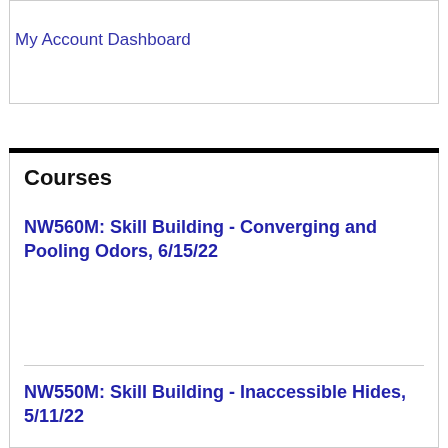My Account Dashboard
Courses
NW560M: Skill Building - Converging and Pooling Odors, 6/15/22
NW550M: Skill Building - Inaccessible Hides, 5/11/22